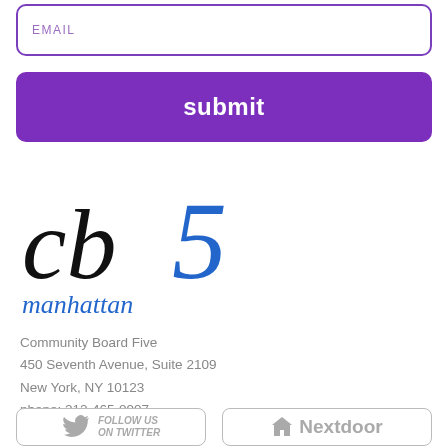EMAIL
submit
[Figure (logo): cb5 manhattan community board five logo with black serif cb and blue 5, italic blue manhattan text]
Community Board Five
450 Seventh Avenue, Suite 2109
New York, NY 10123
phone: 212-465-0907
fax: 212-465-1628
email: office@cb5.org
[Figure (logo): Follow us on Twitter badge with grey bird icon]
[Figure (logo): Nextdoor badge with grey house icon and Nextdoor text]